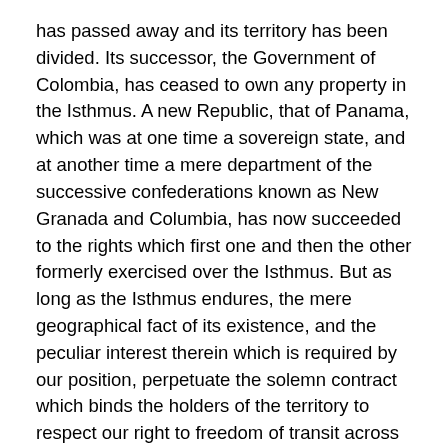has passed away and its territory has been divided. Its successor, the Government of Colombia, has ceased to own any property in the Isthmus. A new Republic, that of Panama, which was at one time a sovereign state, and at another time a mere department of the successive confederations known as New Granada and Columbia, has now succeeded to the rights which first one and then the other formerly exercised over the Isthmus. But as long as the Isthmus endures, the mere geographical fact of its existence, and the peculiar interest therein which is required by our position, perpetuate the solemn contract which binds the holders of the territory to respect our right to freedom of transit across it, and binds us in return to safeguard for the Isthmus and the world the exercise of that inestimable privilege. The true interpretation of the obligations upon which the United States entered in this treaty of 1846 has been given repeatedly in the utterances of Presidents and Secretaries of State. Secretary Cuss in 1858 officially stated the position of this Government as follows:
"The progress of events has rendered the interoceanic route across the narrow portion of Central America vastly important